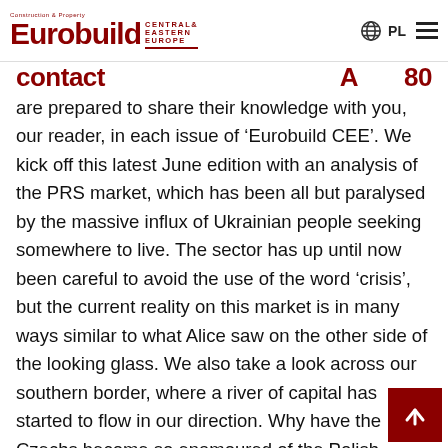Eurobuild Central & Eastern Europe — Construction & Property — PL
are prepared to share their knowledge with you, our reader, in each issue of 'Eurobuild CEE'. We kick off this latest June edition with an analysis of the PRS market, which has been all but paralysed by the massive influx of Ukrainian people seeking somewhere to live. The sector has up until now been careful to avoid the use of the word 'crisis', but the current reality on this market is in many ways similar to what Alice saw on the other side of the looking glass. We also take a look across our southern border, where a river of capital has started to flow in our direction. Why have the Czechs become so enamoured of the Polish